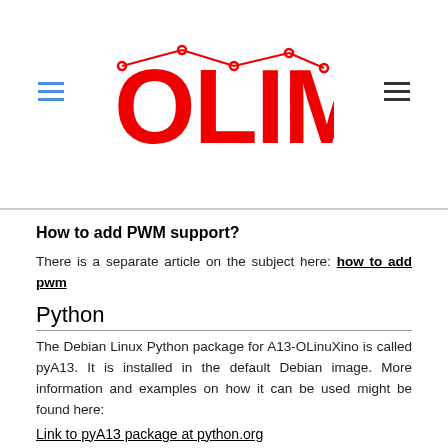OLIMEX logo header with navigation icons
How to add PWM support?
There is a separate article on the subject here: how to add pwm
Python
The Debian Linux Python package for A13-OLinuXino is called pyA13. It is installed in the default Debian image. More information and examples on how it can be used might be found here:
Link to pyA13 package at python.org
Scratch
There are a number of SCRATCH resources we have published. The following might be of interested for you if you